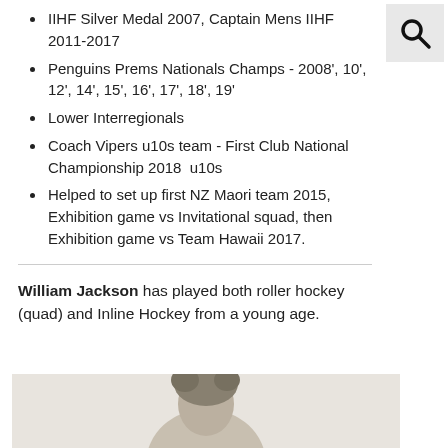IIHF Silver Medal 2007, Captain Mens IIHF 2011-2017
Penguins Prems Nationals Champs - 2008', 10', 12', 14', 15', 16', 17', 18', 19'
Lower Interregionals
Coach Vipers u10s team - First Club National Championship 2018  u10s
Helped to set up first NZ Maori team 2015, Exhibition game vs Invitational squad, then Exhibition game vs Team Hawaii 2017.
William Jackson has played both roller hockey (quad) and Inline Hockey from a young age.
[Figure (photo): A partial photograph visible at the bottom of the page, showing what appears to be a person, partially cropped.]